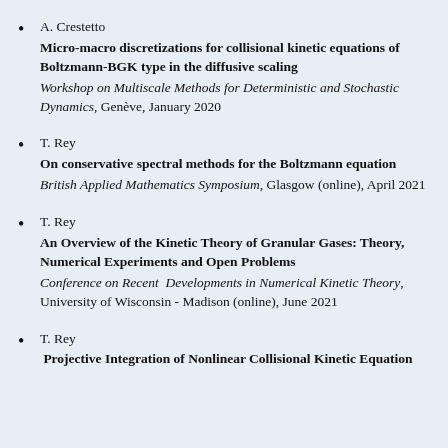A. Crestetto
Micro-macro discretizations for collisional kinetic equations of Boltzmann-BGK type in the diffusive scaling
Workshop on Multiscale Methods for Deterministic and Stochastic Dynamics, Genève, January 2020
T. Rey
On conservative spectral methods for the Boltzmann equation
British Applied Mathematics Symposium, Glasgow (online), April 2021
T. Rey
An Overview of the Kinetic Theory of Granular Gases: Theory, Numerical Experiments and Open Problems
Conference on Recent Developments in Numerical Kinetic Theory, University of Wisconsin - Madison (online), June 2021
T. Rey
Projective Integration of Nonlinear Collisional Kinetic Equation